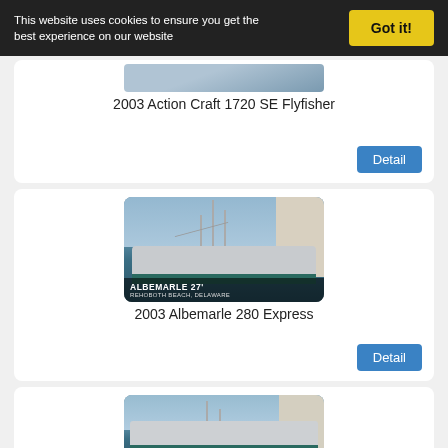This website uses cookies to ensure you get the best experience on our website
Got it!
2003 Action Craft 1720 SE Flyfisher
Detail
[Figure (photo): Photo of a boat docked near a building, labeled ALBEMARLE 27', Rehoboth Beach, Delaware]
2003 Albemarle 280 Express
Detail
[Figure (photo): Photo of same or similar Albemarle boat at marina, partially visible at bottom of page]